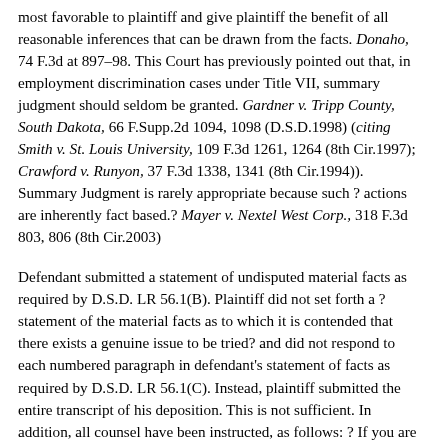most favorable to plaintiff and give plaintiff the benefit of all reasonable inferences that can be drawn from the facts. Donaho, 74 F.3d at 897–98. This Court has previously pointed out that, in employment discrimination cases under Title VII, summary judgment should seldom be granted. Gardner v. Tripp County, South Dakota, 66 F.Supp.2d 1094, 1098 (D.S.D.1998) (citing Smith v. St. Louis University, 109 F.3d 1261, 1264 (8th Cir.1997); Crawford v. Runyon, 37 F.3d 1338, 1341 (8th Cir.1994)). Summary Judgment is rarely appropriate because such ? actions are inherently fact based.? Mayer v. Nextel West Corp., 318 F.3d 803, 806 (8th Cir.2003)
Defendant submitted a statement of undisputed material facts as required by D.S.D. LR 56.1(B). Plaintiff did not set forth a ?statement of the material facts as to which it is contended that there exists a genuine issue to be tried? and did not respond to each numbered paragraph in defendant's statement of facts as required by D.S.D. LR 56.1(C). Instead, plaintiff submitted the entire transcript of his deposition. This is not sufficient. In addition, all counsel have been instructed, as follows: ? If you are filing a motion for summary judgment or